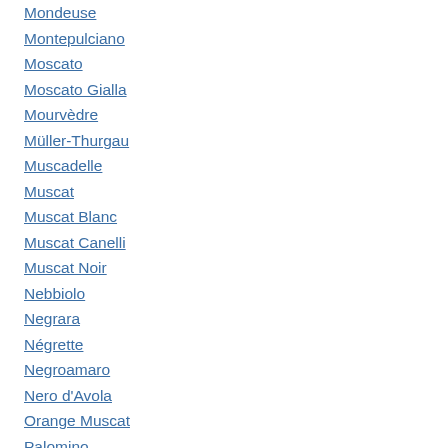Mondeuse
Montepulciano
Moscato
Moscato Gialla
Mourvèdre
Müller-Thurgau
Muscadelle
Muscat
Muscat Blanc
Muscat Canelli
Muscat Noir
Nebbiolo
Negrara
Négrette
Negroamaro
Nero d'Avola
Orange Muscat
Palomino
Pecorino